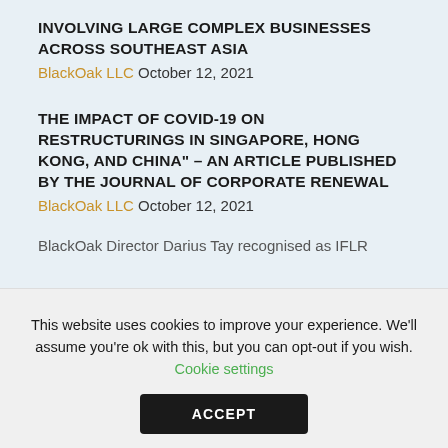INVOLVING LARGE COMPLEX BUSINESSES ACROSS SOUTHEAST ASIA
BlackOak LLC October 12, 2021
THE IMPACT OF COVID-19 ON RESTRUCTURINGS IN SINGAPORE, HONG KONG, AND CHINA" – AN ARTICLE PUBLISHED BY THE JOURNAL OF CORPORATE RENEWAL
BlackOak LLC October 12, 2021
BlackOak Director Darius Tay recognised as IFLR
This website uses cookies to improve your experience. We'll assume you're ok with this, but you can opt-out if you wish. Cookie settings
ACCEPT